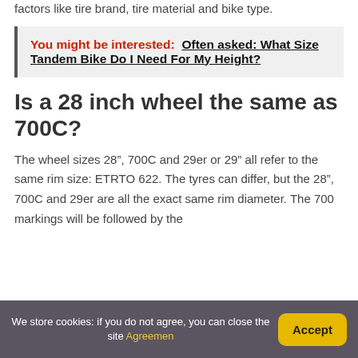factors like tire brand, tire material and bike type.
You might be interested:  Often asked: What Size Tandem Bike Do I Need For My Height?
Is a 28 inch wheel the same as 700C?
The wheel sizes 28”, 700C and 29er or 29” all refer to the same rim size: ETRTO 622. The tyres can differ, but the 28”, 700C and 29er are all the exact same rim diameter. The 700 markings will be followed by the
We store cookies: if you do not agree, you can close the site Agreemen